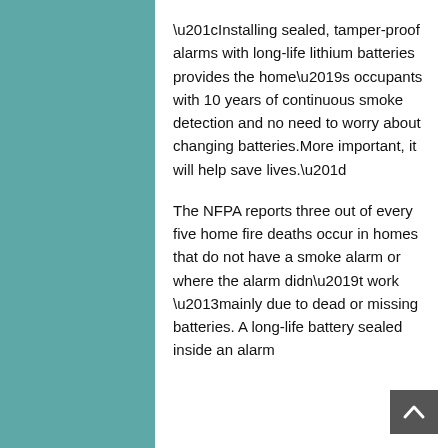“Installing sealed, tamper-proof alarms with long-life lithium batteries provides the home’s occupants with 10 years of continuous smoke detection and no need to worry about changing batteries.More important, it will help save lives.”
The NFPA reports three out of every five home fire deaths occur in homes that do not have a smoke alarm or where the alarm didn’t work –mainly due to dead or missing batteries. A long-life battery sealed inside an alarm